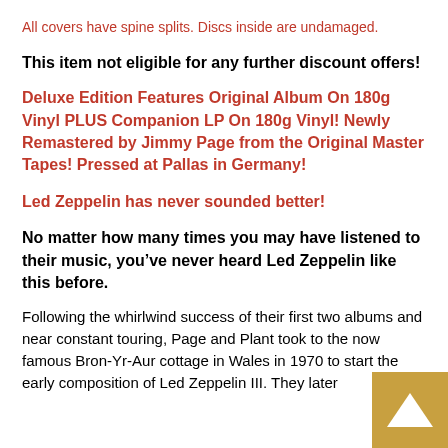All covers have spine splits. Discs inside are undamaged.
This item not eligible for any further discount offers!
Deluxe Edition Features Original Album On 180g Vinyl PLUS Companion LP On 180g Vinyl! Newly Remastered by Jimmy Page from the Original Master Tapes! Pressed at Pallas in Germany!
Led Zeppelin has never sounded better!
No matter how many times you may have listened to their music, you’ve never heard Led Zeppelin like this before.
Following the whirlwind success of their first two albums and near constant touring, Page and Plant took to the now famous Bron-Yr-Aur cottage in Wales in 1970 to start the early composition of Led Zeppelin III. They later